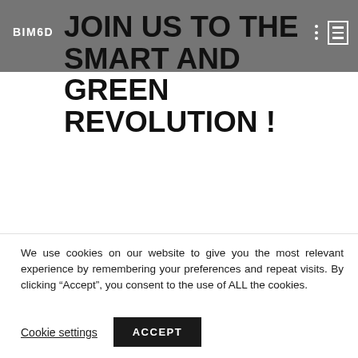BIM6D
JOIN US TO THE SMART AND GREEN REVOLUTION !
New 4.0 Engineering business area led by Frederic Gil Banus
New Marketing and Business Management unit led by Efren Garcia Fernandez
We use cookies on our website to give you the most relevant experience by remembering your preferences and repeat visits. By clicking “Accept”, you consent to the use of ALL the cookies.
Cookie settings   ACCEPT